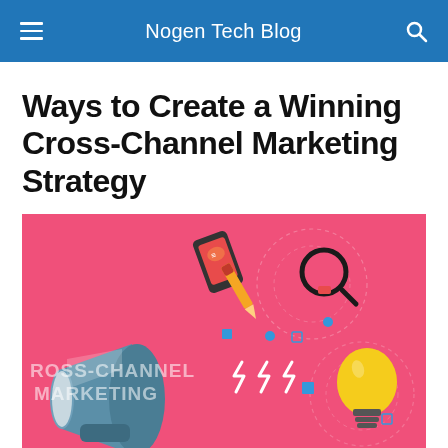Nogen Tech Blog
Ways to Create a Winning Cross-Channel Marketing Strategy
[Figure (illustration): Cross-channel marketing illustration on pink background featuring a megaphone, smartphone, pencil, magnifying glass, lightbulb, and decorative elements. Text reads CROSS-CHANNEL MARKETING.]